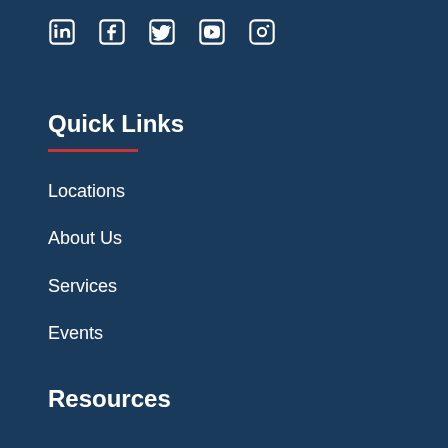[Figure (illustration): Row of social media icons: LinkedIn, Facebook, Twitter, YouTube, Instagram — white icons on dark blue background]
Quick Links
Locations
About Us
Services
Events
Resources